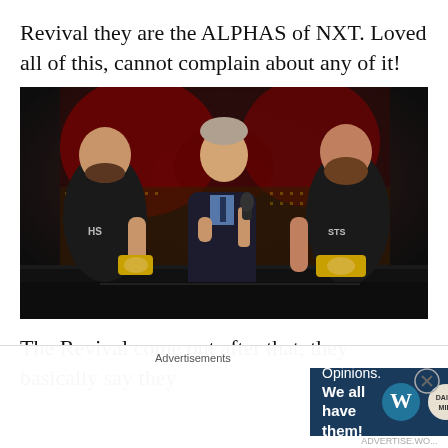Revival they are the ALPHAS of NXT. Loved all of this, cannot complain about any of it!
[Figure (photo): Three men on a stage: two wrestlers in black t-shirts flanking a man in a dark suit holding a microphone, in front of a red and gold LED backdrop.]
The Revival come out after that, they basically say they
Advertisements
[Figure (other): Advertisement banner with dark blue background reading 'Opinions. We all have them!' with WordPress and Daily Miri logos on the right.]